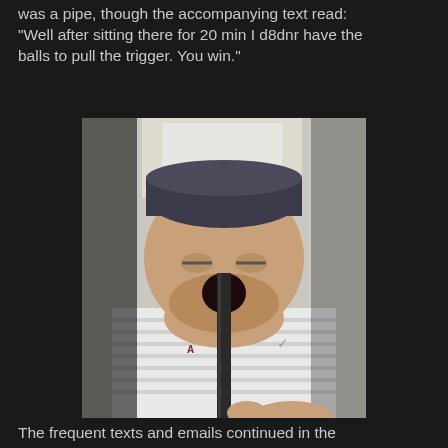was a pipe, though the accompanying text read: "Well after sitting there for 20 min I d8dnr have the balls to pull the trigger. You win."
[Figure (photo): A photograph of a man with a cap and beard wearing a white striped shirt, with an object in his mouth, photographed from below.]
The frequent texts and emails continued in the